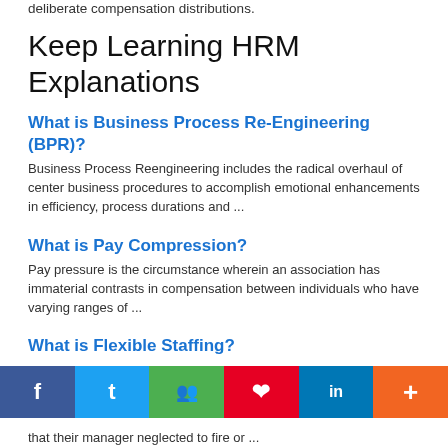deliberate compensation distributions.
Keep Learning HRM Explanations
What is Business Process Re-Engineering (BPR)?
Business Process Reengineering includes the radical overhaul of center business procedures to accomplish emotional enhancements in efficiency, process durations and ...
What is Pay Compression?
Pay pressure is the circumstance wherein an association has immaterial contrasts in compensation between individuals who have varying ranges of ...
What is Flexible Staffing?
Flexible staffing is a training to fill opportunities in work. Typically, a business would enlist another perpetual representative on the ...
What is Dual Career Ladder?
This expansion to the conventional vocation stepping stool enables representatives to be advanced along either a supervisory or specialized track. ...
What is Seniority?
Seniority is the idea of an individual or gathering of individuals overshadowing someone else or bunch in light of the ...
that their manager neglected to fire or ...